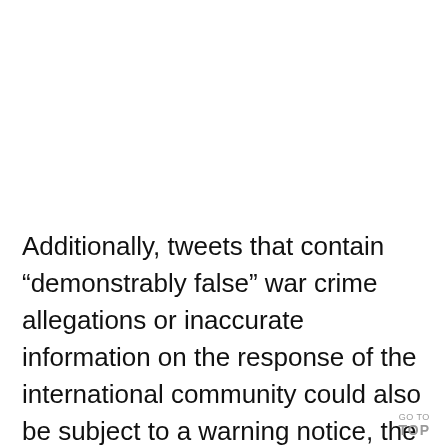Additionally, tweets that contain “demonstably false” war crime allegations or inaccurate information on the response of the international community could also be subject to a warning notice, the blog post read.
GO TO TOP